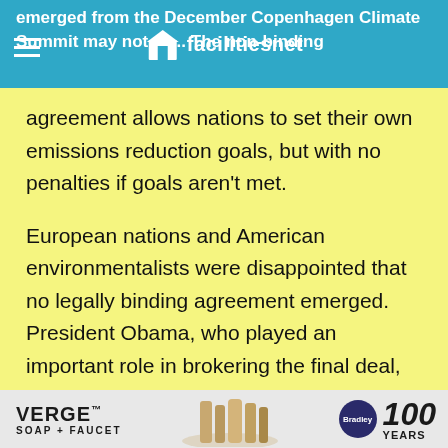emerged from the December Copenhagen Climate Summit may not se... The non-binding
[Figure (logo): facilitiesnet logo — white building icon with 'facilitiesnet' text in white on teal/blue header bar]
agreement allows nations to set their own emissions reduction goals, but with no penalties if goals aren't met.
European nations and American environmentalists were disappointed that no legally binding agreement emerged. President Obama, who played an important role in brokering the final deal, called the agreement an important first step.
[Figure (photo): Partially visible dark photograph at bottom of content area]
[Figure (advertisement): Bradley VERGE SOAP + FAUCET advertisement banner — 100 YEARS]